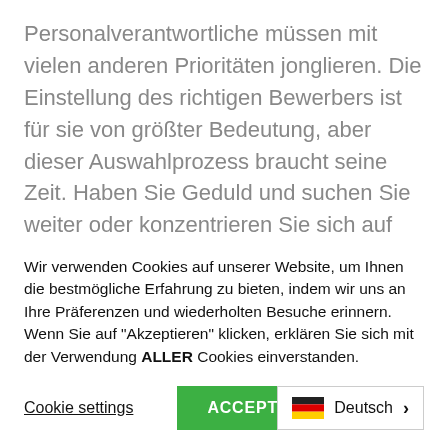Personalverantwortliche müssen mit vielen anderen Prioritäten jonglieren. Die Einstellung des richtigen Bewerbers ist für sie von größter Bedeutung, aber dieser Auswahlprozess braucht seine Zeit. Haben Sie Geduld und suchen Sie weiter oder konzentrieren Sie sich auf andere Dinge. Es ist viel besser für Ihren Seelenfrieden, wenn Sie die Stelle aus Ihrem Kopf streichen, sobald Sie Ihre Bewerbung abgeschickt haben, denn es bringt
Wir verwenden Cookies auf unserer Website, um Ihnen die bestmögliche Erfahrung zu bieten, indem wir uns an Ihre Präferenzen und wiederholten Besuche erinnern. Wenn Sie auf "Akzeptieren" klicken, erklären Sie sich mit der Verwendung ALLER Cookies einverstanden.
Cookie settings
ACCEPT
Deutsch